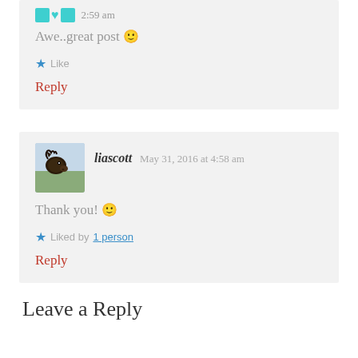2:59 am
Awe..great post 🙂
★ Like
Reply
liascott  May 31, 2016 at 4:58 am
Thank you! 🙂
★ Liked by 1 person
Reply
Leave a Reply